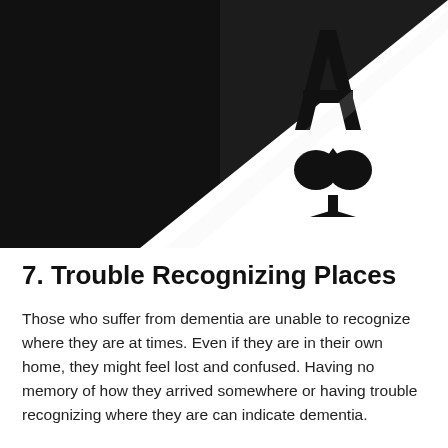[Figure (photo): Close-up photograph of an Ace of Spades playing card on a dark/black background. The white card shows a large black letter 'A' at the top and a black spade suit symbol below it. The card is angled diagonally from bottom-left to top-right.]
7. Trouble Recognizing Places
Those who suffer from dementia are unable to recognize where they are at times. Even if they are in their own home, they might feel lost and confused. Having no memory of how they arrived somewhere or having trouble recognizing where they are can indicate dementia.